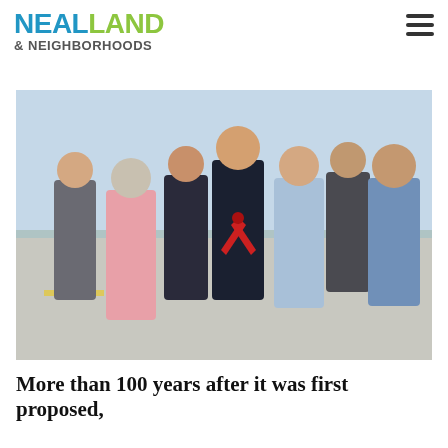NEAL LAND & NEIGHBORHOODS
[Figure (photo): Group of people at a ribbon-cutting ceremony on a road or runway, one person holding large red scissors, outdoors with open sky background.]
More than 100 years after it was first proposed,